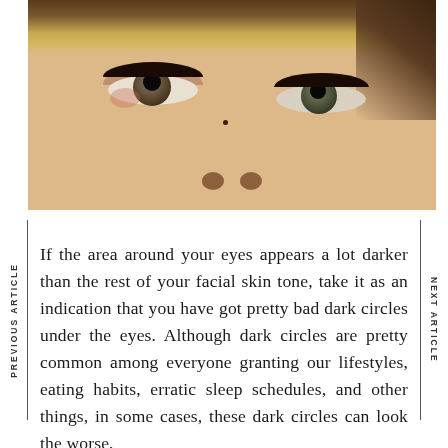[Figure (photo): Close-up photo of a young woman's face showing her eyes, nose, and part of her hair. The image is a tight crop showing dark eye makeup, green/hazel eyes, skin with a mole near the nose, and blonde/dark hair. The eyes appear slightly red/irritated around the inner corners.]
If the area around your eyes appears a lot darker than the rest of your facial skin tone, take it as an indication that you have got pretty bad dark circles under the eyes. Although dark circles are pretty common among everyone granting our lifestyles, eating habits, erratic sleep schedules, and other things, in some cases, these dark circles can look the worse,